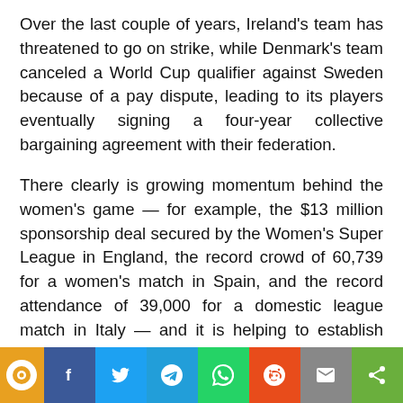Over the last couple of years, Ireland's team has threatened to go on strike, while Denmark's team canceled a World Cup qualifier against Sweden because of a pay dispute, leading to its players eventually signing a four-year collective bargaining agreement with their federation.
There clearly is growing momentum behind the women's game — for example, the $13 million sponsorship deal secured by the Women's Super League in England, the record crowd of 60,739 for a women's match in Spain, and the record attendance of 39,000 for a domestic league match in Italy — and it is helping to establish players like Hegerberg as household names.
So while her absence from the World Cup is a loss for fans… for the…
[Figure (other): Social media sharing bar with buttons for an unnamed orange app, Facebook, Twitter, Telegram, WhatsApp, Reddit, Email, and Share.]